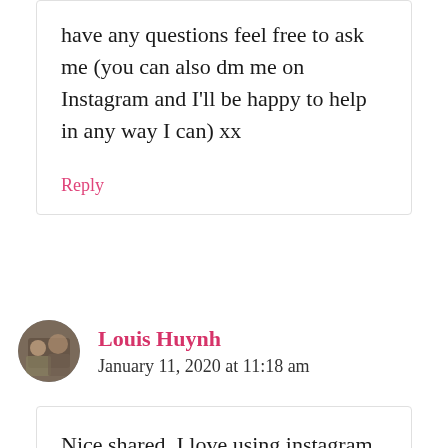have any questions feel free to ask me (you can also dm me on Instagram and I'll be happy to help in any way I can) xx
Reply
Louis Huynh
January 11, 2020 at 11:18 am
Nice shared, I love using instagram